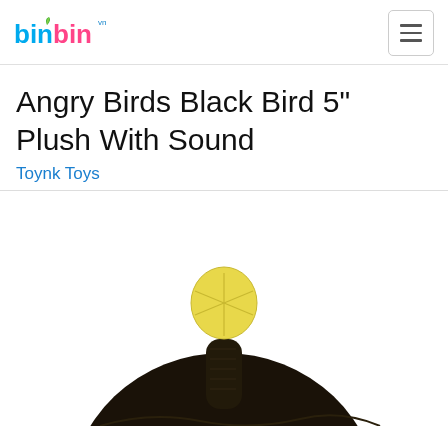binbin
Angry Birds Black Bird 5" Plush With Sound
Toynk Toys
[Figure (photo): Black Angry Bird plush toy with yellow tuft on top, viewed from behind/side, showing the round dark body and yellow pom-pom on head against white background]